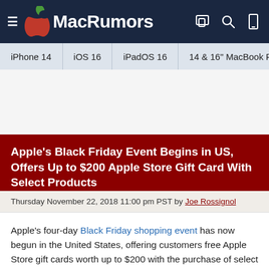MacRumors
iPhone 14 | iOS 16 | iPadOS 16 | 14 & 16" MacBook P
Apple's Black Friday Event Begins in US, Offers Up to $200 Apple Store Gift Card With Select Products
Thursday November 22, 2018 11:00 pm PST by Joe Rossignol
Apple's four-day Black Friday shopping event has now begun in the United States, offering customers free Apple Store gift cards worth up to $200 with the purchase of select new Apple products.